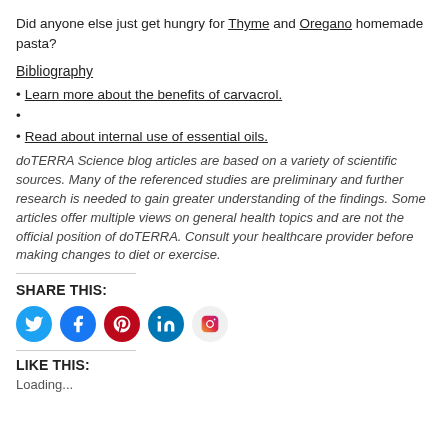Did anyone else just get hungry for Thyme and Oregano homemade pasta?
Bibliography
Learn more about the benefits of carvacrol.
Read about internal use of essential oils.
doTERRA Science blog articles are based on a variety of scientific sources. Many of the referenced studies are preliminary and further research is needed to gain greater understanding of the findings. Some articles offer multiple views on general health topics and are not the official position of doTERRA. Consult your healthcare provider before making changes to diet or exercise.
SHARE THIS:
[Figure (infographic): Social media share icons: Twitter (blue bird), Facebook (blue f), Pinterest (red P), LinkedIn (blue in), Instagram (gradient camera)]
LIKE THIS:
Loading...